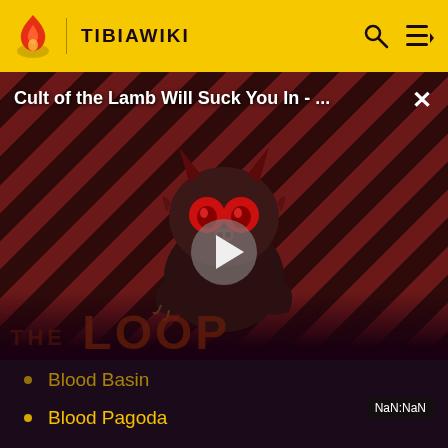TIBIAWIKI
[Figure (screenshot): Video thumbnail for 'Cult of the Lamb Will Suck You In - ...' showing a cartoon creature mascot on a diagonal striped dark red background with THE LOOP text, a play button, and NaN:NaN time indicator. A close (X) button is in the top right.]
Blood Basin
Blood Pagoda
Blood Well
Bone Totem
Bones (Wall)
Bookcase (Rathleton)